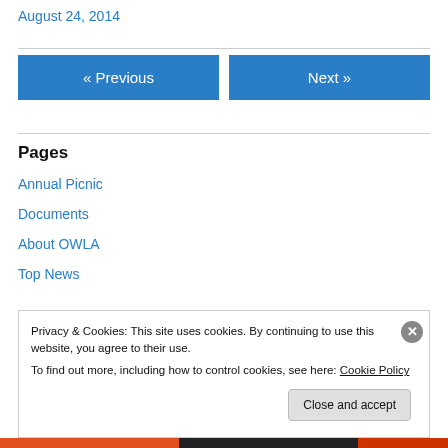August 24, 2014
[Figure (other): Navigation buttons: « Previous and Next »]
Pages
Annual Picnic
Documents
About OWLA
Top News
Privacy & Cookies: This site uses cookies. By continuing to use this website, you agree to their use. To find out more, including how to control cookies, see here: Cookie Policy
Close and accept